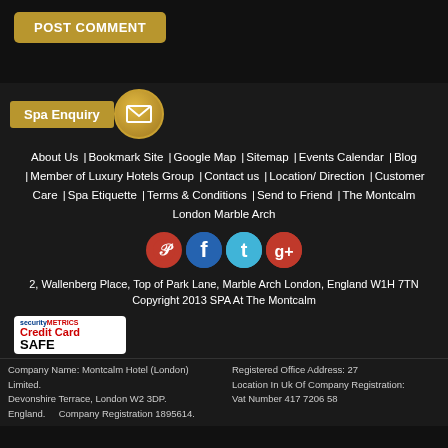[Figure (other): POST COMMENT button in gold/brown color with rounded corners]
[Figure (other): Spa Enquiry label with gold email icon circle]
About Us |Bookmark Site |Google Map |Sitemap |Events Calendar |Blog |Member of Luxury Hotels Group |Contact us |Location/ Direction |Customer Care |Spa Etiquette |Terms & Conditions |Send to Friend |The Montcalm London Marble Arch
[Figure (other): Social media icons: Pinterest, Facebook, Twitter, Google+]
2, Wallenberg Place, Top of Park Lane, Marble Arch London, England W1H 7TN
Copyright 2013 SPA At The Montcalm
[Figure (other): SecurityMetrics Credit Card Safe badge]
Company Name: Montcalm Hotel (London) Limited.    Registered Office Address: 27 Devonshire Terrace, London W2 3DP.    Location In Uk Of Company Registration: England.    Company Registration 1895614.    Vat Number 417 7206 58